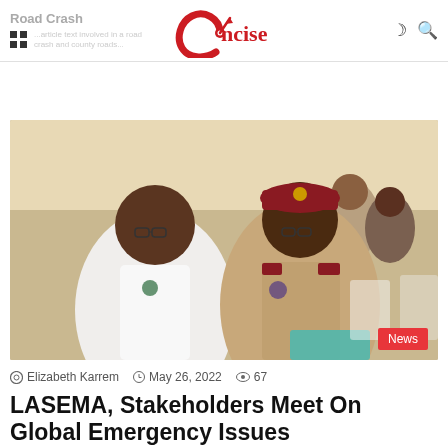Road Crash | Concise
Read More »
[Figure (photo): Two women in uniforms seated at an event or meeting. One wears a white government uniform, the other wears a tan/khaki uniform with a maroon cap and epaulettes. Other attendees are visible in background.]
News
Elizabeth Karrem  May 26, 2022  67
LASEMA, Stakeholders Meet On Global Emergency Issues